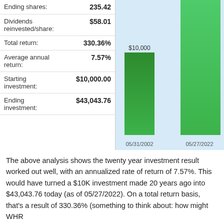| Metric | Value |
| --- | --- |
| Ending shares: | 235.42 |
| Dividends reinvested/share: | $58.01 |
| Total return: | 330.36% |
| Average annual return: | 7.57% |
| Starting investment: | $10,000.00 |
| Ending investment: | $43,043.76 |
[Figure (bar-chart): Investment Growth]
The above analysis shows the twenty year investment result worked out well, with an annualized rate of return of 7.57%. This would have turned a $10K investment made 20 years ago into $43,043.76 today (as of 05/27/2022). On a total return basis, that's a result of 330.36% (something to think about: how might WHR